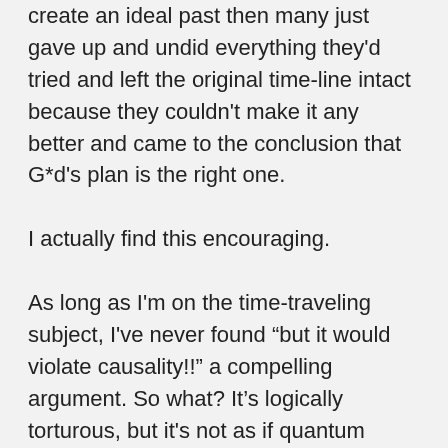create an ideal past then many just gave up and undid everything they'd tried and left the original time-line intact because they couldn't make it any better and came to the conclusion that G*d's plan is the right one.
I actually find this encouraging.
As long as I'm on the time-traveling subject, I've never found “but it would violate causality!!” a compelling argument. So what? It’s logically torturous, but it's not as if quantum mechanics makes any sense. If I receive a response to a message I have not yet sent, I'll just roll my eyes, curse FTL (“the future’s the past; the past is the future; it makes my head hurt”), and